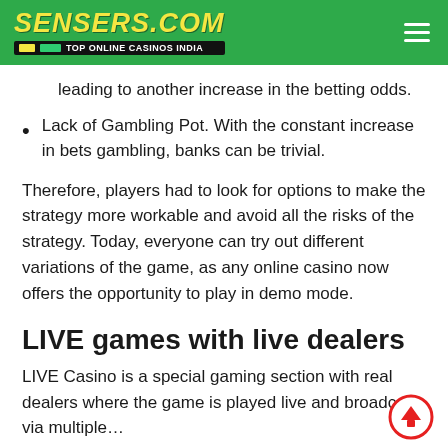SENSERS.COM — TOP ONLINE CASINOS INDIA
leading to another increase in the betting odds.
Lack of Gambling Pot. With the constant increase in bets gambling, banks can be trivial.
Therefore, players had to look for options to make the strategy more workable and avoid all the risks of the strategy. Today, everyone can try out different variations of the game, as any online casino now offers the opportunity to play in demo mode.
LIVE games with live dealers
LIVE Casino is a special gaming section with real dealers where the game is played live and broadcast via multiple…